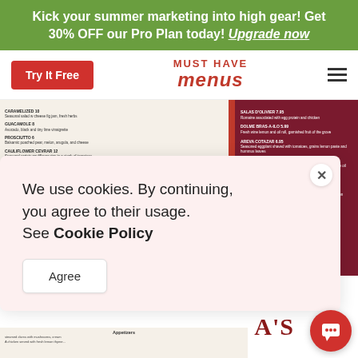Kick your summer marketing into high gear! Get 30% OFF our Pro Plan today! Upgrade now
[Figure (screenshot): Must Have Menus website navigation bar with Try It Free button, logo, and hamburger menu]
[Figure (screenshot): Restaurant menu preview images showing salads and appetizers sections]
We use cookies. By continuing, you agree to their usage. See Cookie Policy
Agree